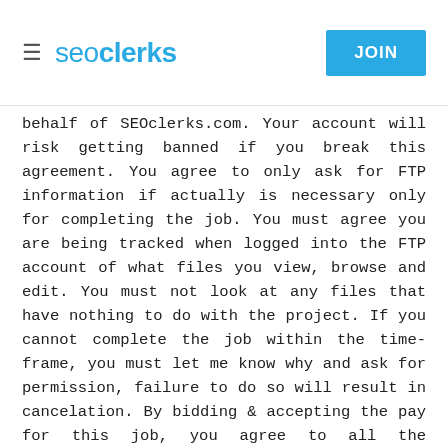≡  seoclerks  JOIN
behalf of SEOclerks.com. Your account will risk getting banned if you break this agreement. You agree to only ask for FTP information if actually is necessary only for completing the job. You must agree you are being tracked when logged into the FTP account of what files you view, browse and edit. You must not look at any files that have nothing to do with the project. If you cannot complete the job within the time-frame, you must let me know why and ask for permission, failure to do so will result in cancelation. By bidding & accepting the pay for this job, you agree to all the requirements and terms for this job.
Requirements
1. Must know how to code
2. Must know php, html and javascript